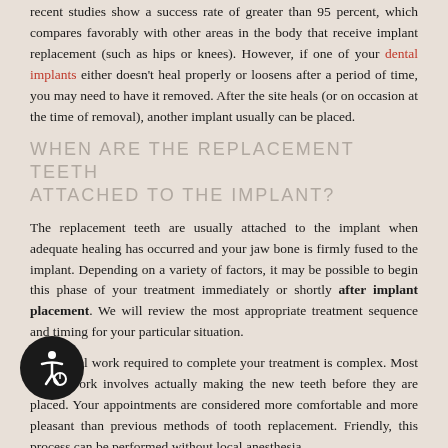recent studies show a success rate of greater than 95 percent, which compares favorably with other areas in the body that receive implant replacement (such as hips or knees). However, if one of your dental implants either doesn't heal properly or loosens after a period of time, you may need to have it removed. After the site heals (or on occasion at the time of removal), another implant usually can be placed.
WHEN ARE THE REPLACEMENT TEETH ATTACHED TO THE IMPLANT?
The replacement teeth are usually attached to the implant when adequate healing has occurred and your jaw bone is firmly fused to the implant. Depending on a variety of factors, it may be possible to begin this phase of your treatment immediately or shortly after implant placement. We will review the most appropriate treatment sequence and timing for your particular situation.
The dental work required to complete your treatment is complex. Most of the work involves actually making the new teeth before they are placed. Your appointments are considered more comfortable and more pleasant than previous methods of tooth replacement. Friendly, this process can be performed without local anesthesia.
Your restorative treatment begins with specialized impressions that